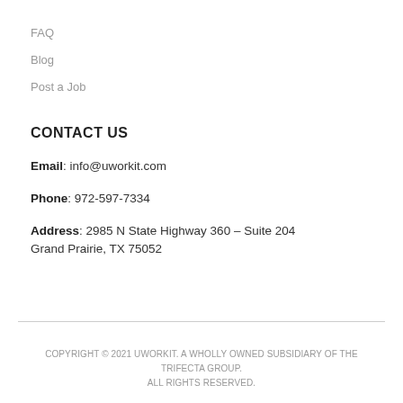FAQ
Blog
Post a Job
CONTACT US
Email: info@uworkit.com
Phone: 972-597-7334
Address: 2985 N State Highway 360 – Suite 204
Grand Prairie, TX 75052
COPYRIGHT © 2021 UWORKIT. A WHOLLY OWNED SUBSIDIARY OF THE TRIFECTA GROUP.
ALL RIGHTS RESERVED.